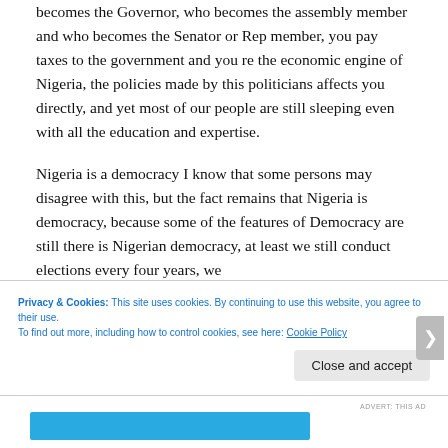becomes the Governor, who becomes the assembly member and who becomes the Senator or Rep member, you pay taxes to the government and you re the economic engine of Nigeria, the policies made by this politicians affects you directly, and yet most of our people are still sleeping even with all the education and expertise.
Nigeria is a democracy I know that some persons may disagree with this, but the fact remains that Nigeria is democracy, because some of the features of Democracy are still there is Nigerian democracy, at least we still conduct elections every four years, we
Privacy & Cookies: This site uses cookies. By continuing to use this website, you agree to their use.
To find out more, including how to control cookies, see here: Cookie Policy